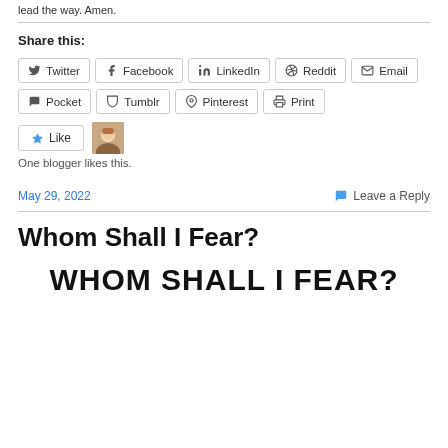lead the way. Amen.
Share this:
Twitter  Facebook  LinkedIn  Reddit  Email  Pocket  Tumblr  Pinterest  Print
Like  One blogger likes this.
May 29, 2022
Leave a Reply
Whom Shall I Fear?
[Figure (other): Book title text reading WHOM SHALL I FEAR? in large bold black letters]